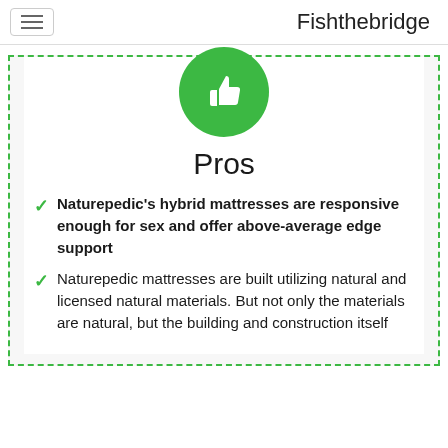Fishthebridge
[Figure (illustration): Green circle with white thumbs-up icon, representing Pros section]
Pros
Naturepedic's hybrid mattresses are responsive enough for sex and offer above-average edge support
Naturepedic mattresses are built utilizing natural and licensed natural materials. But not only the materials are natural, but the building and construction itself